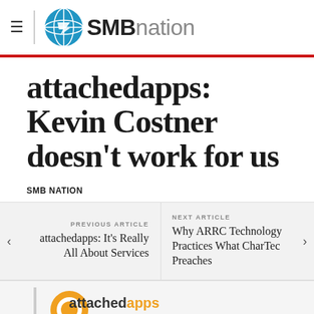SMBnation
attachedapps: Kevin Costner doesn't work for us
SMB NATION
PREVIOUS ARTICLE
attachedapps: It's Really All About Services
NEXT ARTICLE
Why ARRC Technology Practices What CharTec Preaches
[Figure (logo): attachedapps.com logo with orange circular icon]